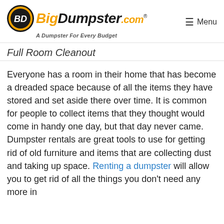BigDumpster.com — A Dumpster For Every Budget | Menu
Full Room Cleanout
Everyone has a room in their home that has become a dreaded space because of all the items they have stored and set aside there over time. It is common for people to collect items that they thought would come in handy one day, but that day never came. Dumpster rentals are great tools to use for getting rid of old furniture and items that are collecting dust and taking up space. Renting a dumpster will allow you to get rid of all the things you don't need any more in